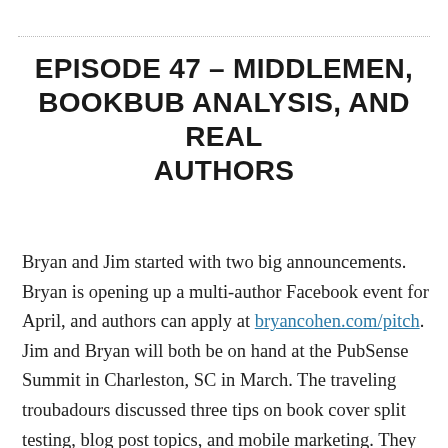EPISODE 47 – MIDDLEMEN, BOOKBUB ANALYSIS, AND REAL AUTHORS
Bryan and Jim started with two big announcements. Bryan is opening up a multi-author Facebook event for April, and authors can apply at bryancohen.com/pitch. Jim and Bryan will both be on hand at the PubSense Summit in Charleston, SC in March. The traveling troubadours discussed three tips on book cover split testing, blog post topics, and mobile marketing. They also touched on